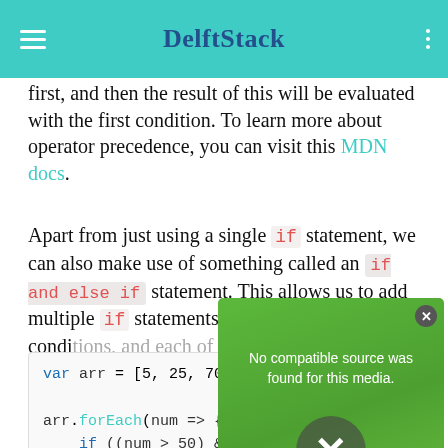DelftStack
first, and then the result of this will be evaluated with the first condition. To learn more about operator precedence, you can visit this MDN docs.
Apart from just using a single if statement, we can also make use of something called an if and else if statement. This allows us to add multiple if statements, each with different conditions, and each of these code blocks can execute different code. The code snippet below shows this in sharp: if-else condition
[Figure (screenshot): Video player overlay showing 'No compatible source was found for this media.' message with a close button and X dismiss button, overlaid on a green background]
var arr = [5, 25, 70, 02, 20, 89];

arr.forEach(num => {
    if ((num > 50) && (num < 100)) {